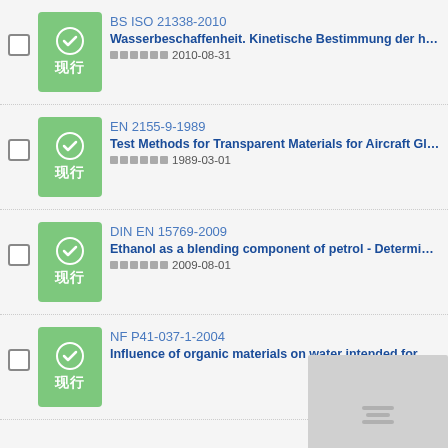BS ISO 21338-2010 | Wasserbeschaffenheit. Kinetische Bestimmung der hemm... | 发布日期 2010-08-31
EN 2155-9-1989 | Test Methods for Transparent Materials for Aircraft Glazin... | 发布日期 1989-03-01
DIN EN 15769-2009 | Ethanol as a blending component of petrol - Determinatio... | 发布日期 2009-08-01
NF P41-037-1-2004 | Influence of organic materials on water intended for hum... | 发布日期 (not shown)